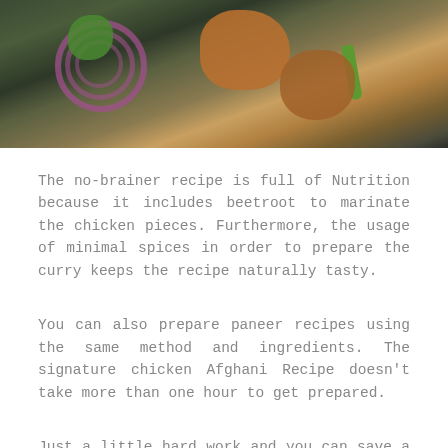[Figure (photo): Food photo showing grilled chicken pieces on a dark slate surface, garnished with purple onion rings, fresh green herbs (cilantro), and a green chili pepper.]
The no-brainer recipe is full of Nutrition because it includes beetroot to marinate the chicken pieces. Furthermore, the usage of minimal spices in order to prepare the curry keeps the recipe naturally tasty.
You can also prepare paneer recipes using the same method and ingredients. The signature chicken Afghani Recipe doesn't take more than one hour to get prepared.
Just a little hard work and you can save a lot on those use bills in restaurants. Moreover, the overall taste of a homemade recipe is far better and worthwhile.